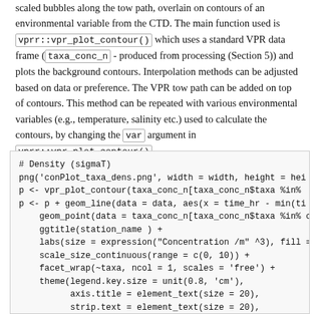scaled bubbles along the tow path, overlain on contours of an environmental variable from the CTD. The main function used is vprr::vpr_plot_contour() which uses a standard VPR data frame (taxa_conc_n - produced from processing (Section 5)) and plots the background contours. Interpolation methods can be adjusted based on data or preference. The VPR tow path can be added on top of contours. This method can be repeated with various environmental variables (e.g., temperature, salinity etc.) used to calculate the contours, by changing the var argument in vprr::vpr_plot_contour().
[Figure (screenshot): R code block showing density (sigmaT) plotting commands using vpr_plot_contour, geom_line, geom_point, ggtitle, labs, scale_size_continuous, facet_wrap, and theme functions.]